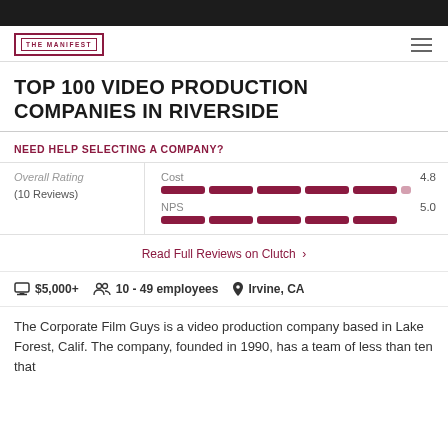The Manifest
TOP 100 VIDEO PRODUCTION COMPANIES IN RIVERSIDE
NEED HELP SELECTING A COMPANY?
| Category | Score |
| --- | --- |
| Overall Rating (10 Reviews) |  |
| Cost | 4.8 |
| NPS | 5.0 |
Read Full Reviews on Clutch  >
$5,000+   10 - 49 employees   Irvine, CA
The Corporate Film Guys is a video production company based in Lake Forest, Calif. The company, founded in 1990, has a team of less than ten that